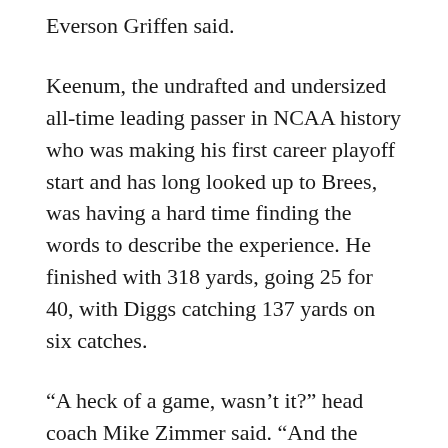Everson Griffen said.
Keenum, the undrafted and undersized all-time leading passer in NCAA history who was making his first career playoff start and has long looked up to Brees, was having a hard time finding the words to describe the experience. He finished with 318 yards, going 25 for 40, with Diggs catching 137 yards on six catches.
“A heck of a game, wasn’t it?” head coach Mike Zimmer said. “And the good guys won.”
Diggs was still in full uniform when he took the podium for his postgame interview, the ball from the winning catch resting safely in front of him on the lectern.
“It’s hard to like…”